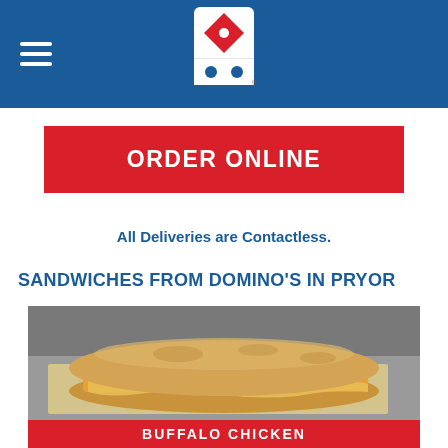Domino's Pizza header with logo and hamburger menu
ORDER ONLINE
All Deliveries are Contactless.
SANDWICHES FROM DOMINO'S IN PRYOR
[Figure (photo): Photo of a Domino's buffalo chicken sandwich sub roll on parchment paper, filled with chicken, cheese, and peppers, on a stainless steel surface]
BUFFALO CHICKEN